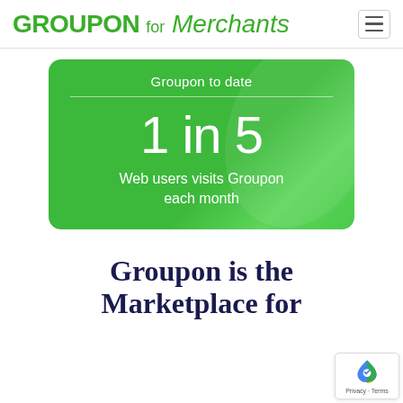GROUPON for Merchants
[Figure (infographic): Green rounded card with text 'Groupon to date' at top, large stat '1 in 5', and description 'Web users visits Groupon each month']
Groupon is the Marketplace for